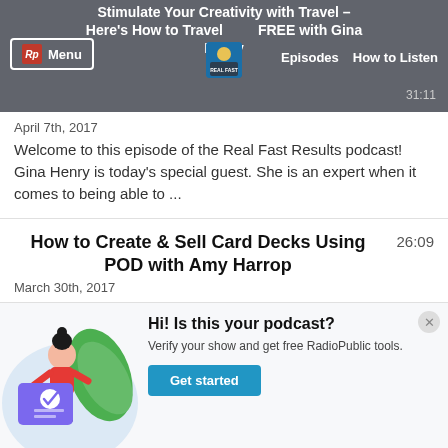Stimulate Your Creativity with Travel – Here's How to Travel FREE with Gina Henry | Episodes | How to Listen | 31:11
April 7th, 2017
Welcome to this episode of the Real Fast Results podcast! Gina Henry is today's special guest.  She is an expert when it comes to being able to ...
How to Create & Sell Card Decks Using POD with Amy Harrop
26:09
March 30th, 2017
Welcome to this episode of the Real Fast Results podcast!
[Figure (illustration): Illustration of a woman standing next to a large verified card/document with a checkmark, with green plant leaves in the background, on a light blue circular background.]
Hi! Is this your podcast? Verify your show and get free RadioPublic tools. Get started